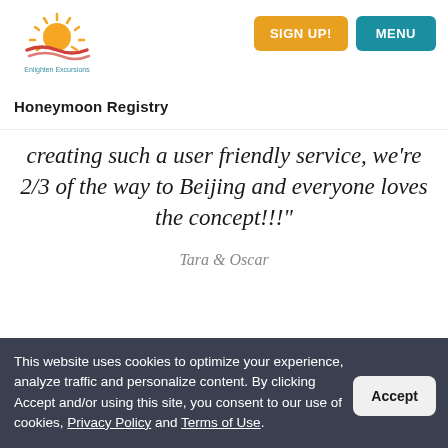[Figure (logo): Enlighten Excursions logo — sun rays above red wave, text beneath]
SIGN UP!  MENU
Honeymoon Registry
creating such a user friendly service, we're 2/3 of the way to Beijing and everyone loves the concept!!!"
Tara & Oscar
Denise & Andy
[Figure (photo): Partially visible travel/landscape photo at bottom of card]
This website uses cookies to optimize your experience, analyze traffic and personalize content. By clicking Accept and/or using this site, you consent to our use of cookies, Privacy Policy and Terms of Use.